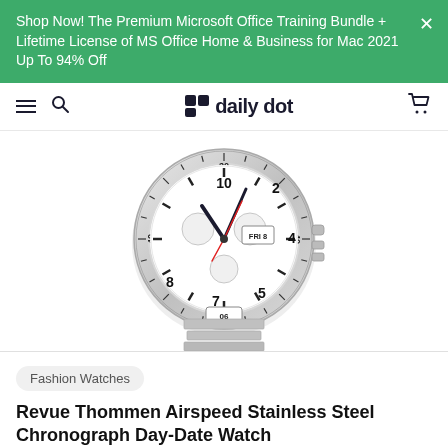Shop Now! The Premium Microsoft Office Training Bundle + Lifetime License of MS Office Home & Business for Mac 2021 Up To 94% Off
daily dot navigation bar
[Figure (photo): Revue Thommen Airspeed Stainless Steel Chronograph Day-Date Watch with white dial, silver bezel with tachymeter markings, subdials, date display showing FRI 8, and silver stainless steel bracelet.]
Fashion Watches
Revue Thommen Airspeed Stainless Steel Chronograph Day-Date Watch
Classic Automatic Watch for Men! Featuring Stainless Steel Strap, Day-